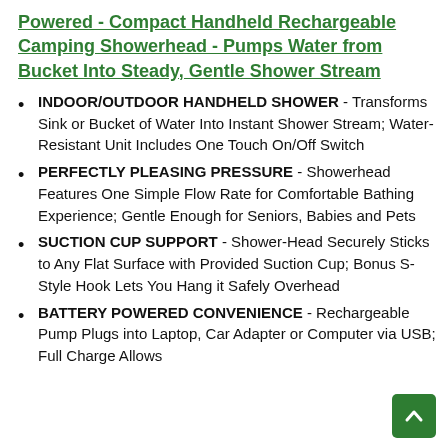Powered - Compact Handheld Rechargeable Camping Showerhead - Pumps Water from Bucket Into Steady, Gentle Shower Stream
INDOOR/OUTDOOR HANDHELD SHOWER - Transforms Sink or Bucket of Water Into Instant Shower Stream; Water-Resistant Unit Includes One Touch On/Off Switch
PERFECTLY PLEASING PRESSURE - Showerhead Features One Simple Flow Rate for Comfortable Bathing Experience; Gentle Enough for Seniors, Babies and Pets
SUCTION CUP SUPPORT - Shower-Head Securely Sticks to Any Flat Surface with Provided Suction Cup; Bonus S-Style Hook Lets You Hang it Safely Overhead
BATTERY POWERED CONVENIENCE - Rechargeable Pump Plugs into Laptop, Car Adapter or Computer via USB; Full Charge Allows